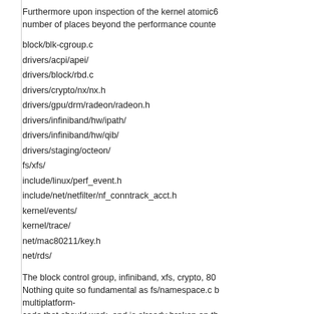Furthermore upon inspection of the kernel atomic64 number of places beyond the performance counte
block/blk-cgroup.c
drivers/acpi/apei/
drivers/block/rbd.c
drivers/crypto/nx/nx.h
drivers/gpu/drm/radeon/radeon.h
drivers/infiniband/hw/ipath/
drivers/infiniband/hw/qib/
drivers/staging/octeon/
fs/xfs/
include/linux/perf_event.h
include/net/netfilter/nf_conntrack_acct.h
kernel/events/
kernel/trace/
net/mac80211/key.h
net/rds/
The block control group, infiniband, xfs, crypto, 80 Nothing quite so fundamental as fs/namespace.c b multiplatform- code that should work, and is already broken on th architecutres.
Looking at the implementation of atomic64_add_re code looks as efficient as these kinds of things ge
Which leads me to the conclusion that we need at architectures.